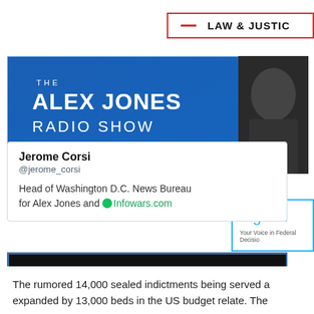LAW & JUSTICE
[Figure (screenshot): The Alex Jones Radio Show banner — blue gradient background with white text reading 'THE ALEX JONES RADIO SHOW' and a photo of Alex Jones on the right.]
[Figure (screenshot): Jerome Corsi Twitter profile card. Name: Jerome Corsi, Handle: @jerome_corsi, Bio: Head of Washington D.C. News Bureau for Alex Jones and Infowars.com]
[Figure (screenshot): Benjamin Fulford Geo-Political Update banner. Dark/black background with white italic bold text 'BENJAMIN FULFORD' and yellow italic text 'Geo-Political Update', with a bald man's head visible.]
[Figure (screenshot): Partial screenshot of Regulati... (Regulations.gov) box with text 'Your Voice in Federal Decisi...']
[Figure (screenshot): Partial Donald card with avatar and text 'Donald' and 'Good (G...']
The rumored 14,000 sealed indictments being served a... expanded by 13,000 beds in the US budget relate. The...